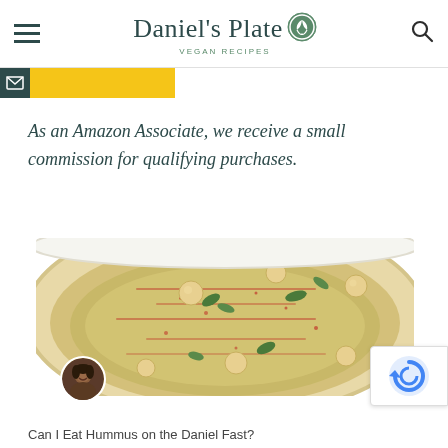Daniel's Plate — VEGAN RECIPES
[Figure (photo): Partial view of an email/newsletter subscription banner with yellow background]
As an Amazon Associate, we receive a small commission for qualifying purchases.
[Figure (photo): Top-down photo of a bowl of hummus topped with chickpeas, red paprika, olive oil, and fresh green herb leaves]
Can I Eat Hummus on the Daniel Fast?